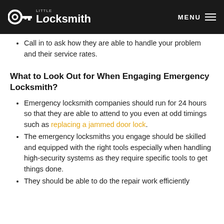Little Locksmith | MENU
Call in to ask how they are able to handle your problem and their service rates.
What to Look Out for When Engaging Emergency Locksmith?
Emergency locksmith companies should run for 24 hours so that they are able to attend to you even at odd timings such as replacing a jammed door lock.
The emergency locksmiths you engage should be skilled and equipped with the right tools especially when handling high-security systems as they require specific tools to get things done.
They should be able to do the repair work efficiently